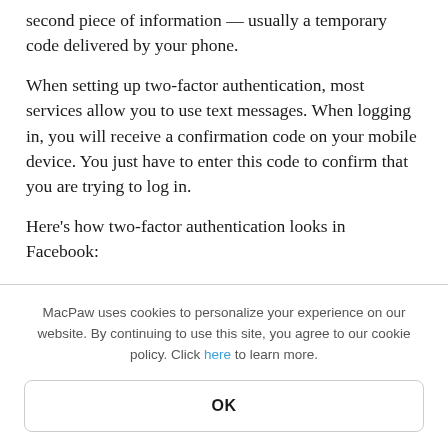second piece of information — usually a temporary code delivered by your phone.
When setting up two-factor authentication, most services allow you to use text messages. When logging in, you will receive a confirmation code on your mobile device. You just have to enter this code to confirm that you are trying to log in.
Here's how two-factor authentication looks in Facebook:
MacPaw uses cookies to personalize your experience on our website. By continuing to use this site, you agree to our cookie policy. Click here to learn more.
OK